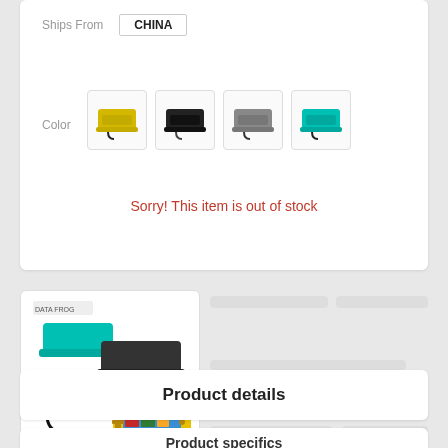Ships From
CHINA
Color
[Figure (photo): Four color swatches of Nintendo Switch Lite docking stands: yellow, black, gray, and teal/cyan]
Sorry! This item is out of stock
[Figure (photo): Product listing image showing multiple colored Nintendo Switch Lite charging stands (teal, black, gray, yellow) with a USB cable and a yellow Nintendo Switch Lite]
Product details
Product specifics